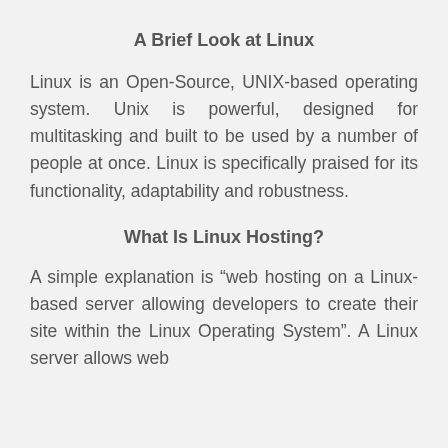A Brief Look at Linux
Linux is an Open-Source, UNIX-based operating system. Unix is powerful, designed for multitasking and built to be used by a number of people at once. Linux is specifically praised for its functionality, adaptability and robustness.
What Is Linux Hosting?
A simple explanation is “web hosting on a Linux-based server allowing developers to create their site within the Linux Operating System”. A Linux server allows web